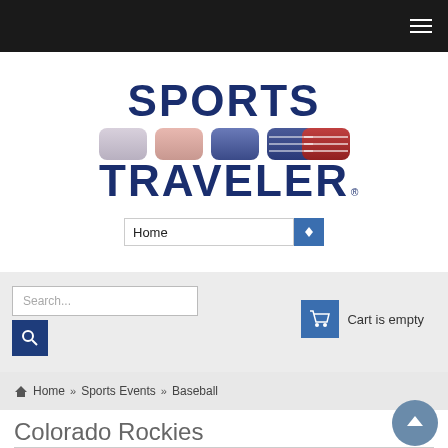Sports Traveler website navigation bar
[Figure (logo): Sports Traveler logo with bold navy blue text SPORTS TRAVELER and colored rounded rectangle icons below SPORTS text]
Home
Search...   Cart is empty
Home » Sports Events » Baseball
Colorado Rockies